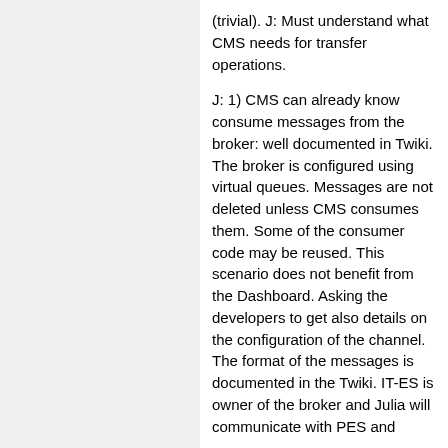(trivial). J: Must understand what CMS needs for transfer operations.
J: 1) CMS can already know consume messages from the broker: well documented in Twiki. The broker is configured using virtual queues. Messages are not deleted unless CMS consumes them. Some of the consumer code may be reused. This scenario does not benefit from the Dashboard. Asking the developers to get also details on the configuration of the channel. The format of the messages is documented in the Twiki. IT-ES is owner of the broker and Julia will communicate with PES and